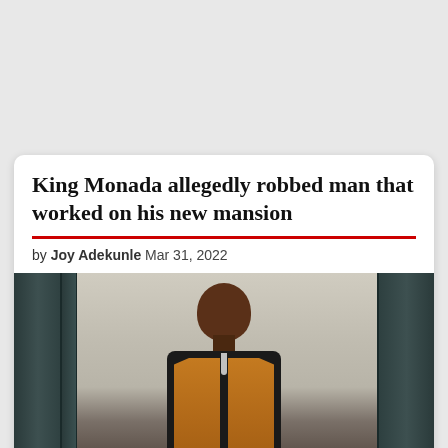King Monada allegedly robbed man that worked on his new mansion
by Joy Adekunle Mar 31, 2022
[Figure (photo): Photo of King Monada, a man wearing a black turtleneck and tan/brown suede vest with a necklace, standing in front of large glass panel doors in what appears to be an upscale interior space. He is smiling at the camera.]